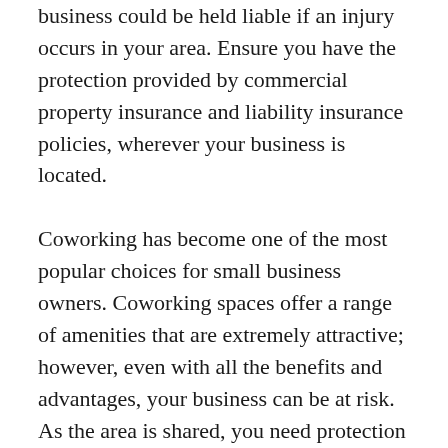business could be held liable if an injury occurs in your area. Ensure you have the protection provided by commercial property insurance and liability insurance policies, wherever your business is located.
Coworking has become one of the most popular choices for small business owners. Coworking spaces offer a range of amenities that are extremely attractive; however, even with all the benefits and advantages, your business can be at risk. As the area is shared, you need protection against the risk of lost, stolen, or damaged property.
The owners or managers of a shared office will have their own liability insurance, even so...